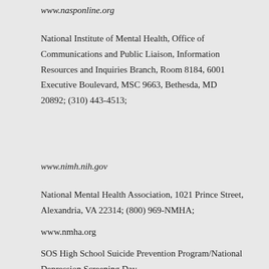www.nasponline.org
National Institute of Mental Health, Office of Communications and Public Liaison, Information Resources and Inquiries Branch, Room 8184, 6001 Executive Boulevard, MSC 9663, Bethesda, MD 20892; (310) 443-4513;
www.nimh.nih.gov
National Mental Health Association, 1021 Prince Street, Alexandria, VA 22314; (800) 969-NMHA;
www.nmha.org
SOS High School Suicide Prevention Program/National Depression Screening Day—